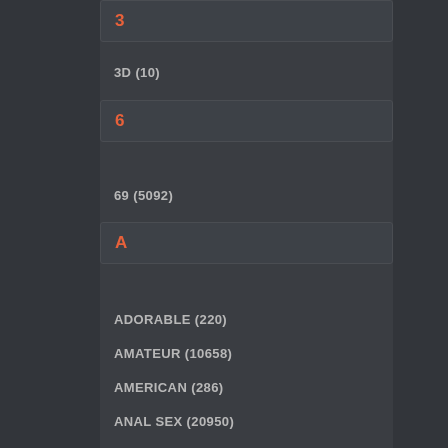3
3D (10)
6
69 (5092)
A
ADORABLE (220)
AMATEUR (10658)
AMERICAN (286)
ANAL SEX (20950)
ANIME (16)
ARAB (115)
ARMY (49)
ASIAN (15259)
ASS (46124)